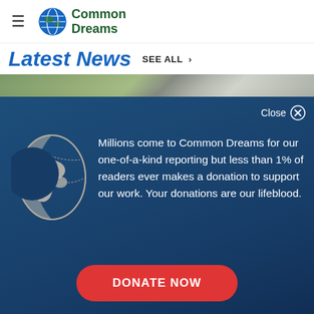Common Dreams
Latest News  SEE ALL >
[Figure (photo): Street photo showing buildings and a bus, partially visible behind modal overlay]
Close ×
[Figure (illustration): White globe icon on dark blue background]
Millions come to Common Dreams for our one-of-a-kind reporting but less than 1% of readers ever makes a donation to support our work. Your donations are our lifeblood.
DONATE NOW